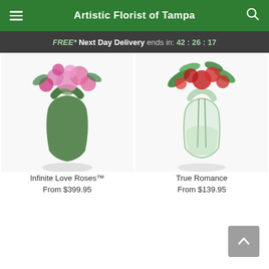Artistic Florist of Tampa
FREE* Next Day Delivery ends in: 42:26:17
[Figure (photo): Infinite Love Roses flower arrangement in a green vase with pink and red roses]
Infinite Love Roses™
From $399.95
[Figure (photo): True Romance flower arrangement in a clear glass vase with green foliage and red roses]
True Romance
From $139.95